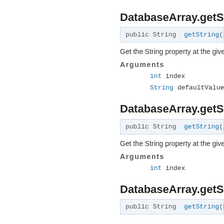DatabaseArray.getSt...
public String  getString(int index...
Get the String property at the given...
Arguments
int index
String defaultValue
DatabaseArray.getSt...
public String  getString(int index)
Get the String property at the given...
Arguments
int index
DatabaseArray.getSt...
public String  getString(String...